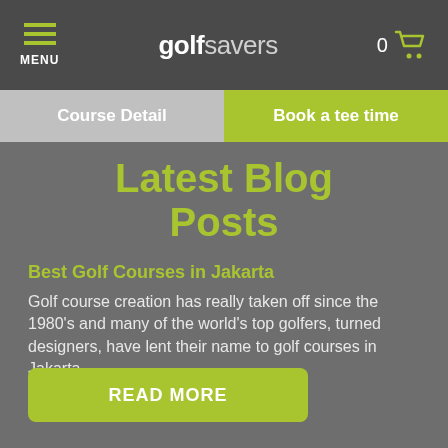golf savers — MENU — 0 cart
Course Detail
Book a tee time
Latest Blog Posts
Best Golf Courses in Jakarta
Golf course creation has really taken off since the 1980's and many of the world's top golfers, turned designers, have lent their name to golf courses in Jakarta
READ MORE